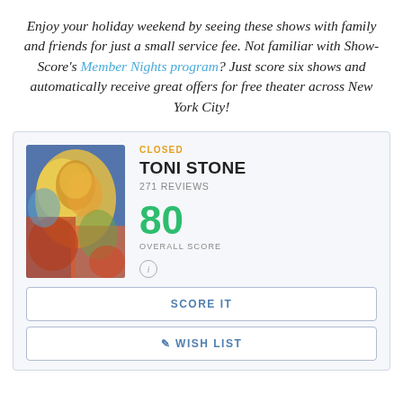Enjoy your holiday weekend by seeing these shows with family and friends for just a small service fee. Not familiar with Show-Score's Member Nights program? Just score six shows and automatically receive great offers for free theater across New York City!
[Figure (other): Show card for Toni Stone featuring a colorful illustrated portrait, closed status label, title TONI STONE, 271 reviews, overall score 80, and action buttons SCORE IT and WISH LIST]